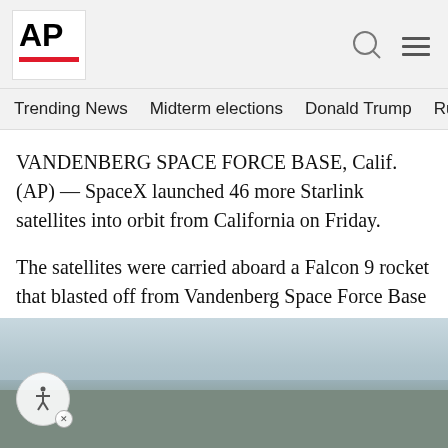AP
Trending News   Midterm elections   Donald Trump   Russia-Ukr
VANDENBERG SPACE FORCE BASE, Calif. (AP) — SpaceX launched 46 more Starlink satellites into orbit from California on Friday.
The satellites were carried aboard a Falcon 9 rocket that blasted off from Vandenberg Space Force Base on the central coast at 2:40 p.m.
[Figure (photo): Outdoor landscape photo showing a hazy sky and distant land or water, likely the launch site area at Vandenberg Space Force Base]